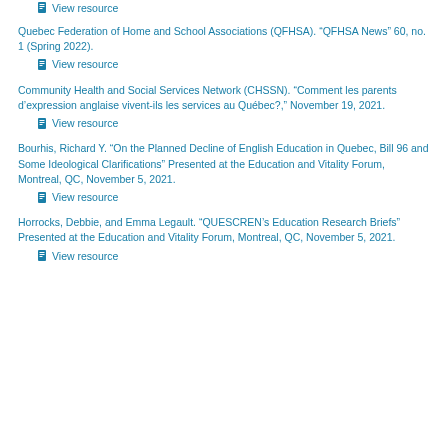View resource
Quebec Federation of Home and School Associations (QFHSA). “QFHSA News” 60, no. 1 (Spring 2022).
View resource
Community Health and Social Services Network (CHSSN). “Comment les parents d’expression anglaise vivent-ils les services au Québec?,” November 19, 2021.
View resource
Bourhis, Richard Y. “On the Planned Decline of English Education in Quebec, Bill 96 and Some Ideological Clarifications” Presented at the Education and Vitality Forum, Montreal, QC, November 5, 2021.
View resource
Horrocks, Debbie, and Emma Legault. “QUESCREN’s Education Research Briefs” Presented at the Education and Vitality Forum, Montreal, QC, November 5, 2021.
View resource